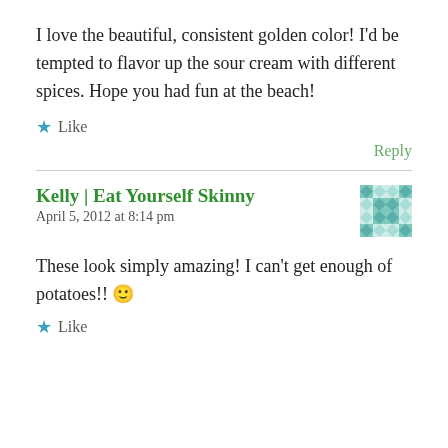I love the beautiful, consistent golden color! I'd be tempted to flavor up the sour cream with different spices. Hope you had fun at the beach!
★ Like
Reply
Kelly | Eat Yourself Skinny
April 5, 2012 at 8:14 pm
These look simply amazing! I can't get enough of potatoes!! 🙂
★ Like